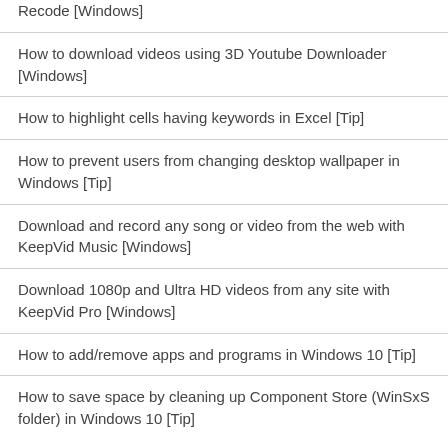Recode [Windows]
How to download videos using 3D Youtube Downloader [Windows]
How to highlight cells having keywords in Excel [Tip]
How to prevent users from changing desktop wallpaper in Windows [Tip]
Download and record any song or video from the web with KeepVid Music [Windows]
Download 1080p and Ultra HD videos from any site with KeepVid Pro [Windows]
How to add/remove apps and programs in Windows 10 [Tip]
How to save space by cleaning up Component Store (WinSxS folder) in Windows 10 [Tip]